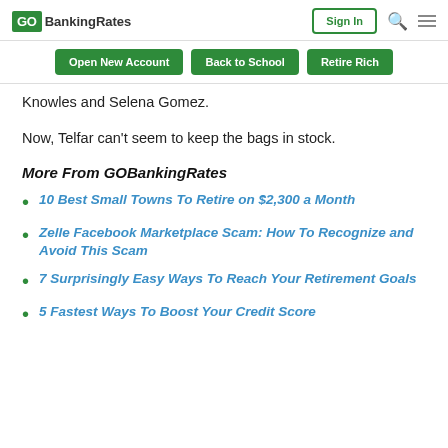GOBankingRates | Sign In
Open New Account | Back to School | Retire Rich
Knowles and Selena Gomez.
Now, Telfar can't seem to keep the bags in stock.
More From GOBankingRates
10 Best Small Towns To Retire on $2,300 a Month
Zelle Facebook Marketplace Scam: How To Recognize and Avoid This Scam
7 Surprisingly Easy Ways To Reach Your Retirement Goals
5 Fastest Ways To Boost Your Credit Score